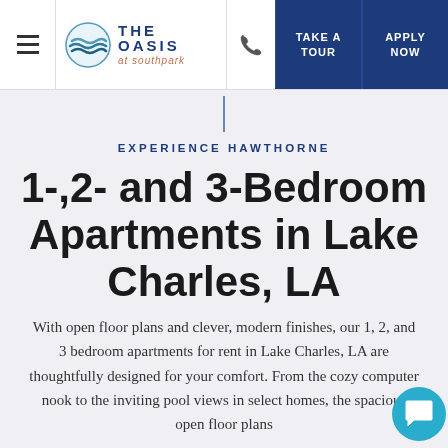THE OASIS at Southpark — TAKE A TOUR | APPLY NOW
EXPERIENCE HAWTHORNE
1-,2- and 3-Bedroom Apartments in Lake Charles, LA
With open floor plans and clever, modern finishes, our 1, 2, and 3 bedroom apartments for rent in Lake Charles, LA are thoughtfully designed for your comfort. From the cozy computer nook to the inviting pool views in select homes, the spacious open floor plans